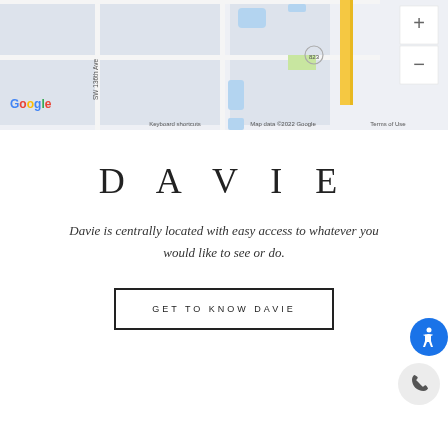[Figure (map): Google Maps screenshot showing a street map area with SW 136th Ave, route 823, and surrounding streets in what appears to be Davie, FL area. Map includes zoom controls (+/-) on the right side.]
DAVIE
Davie is centrally located with easy access to whatever you would like to see or do.
GET TO KNOW DAVIE